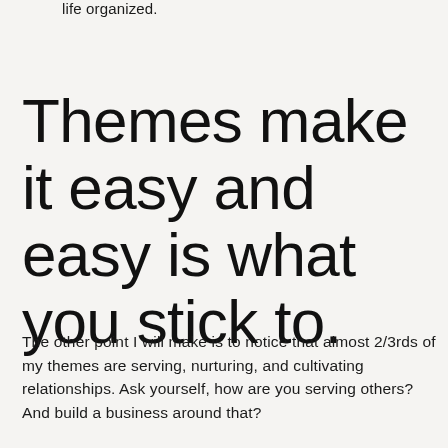life organized.
Themes make it easy and easy is what you stick to.
The other point I will make is to notice that almost 2/3rds of my themes are serving, nurturing, and cultivating relationships. Ask yourself, how are you serving others? And build a business around that?